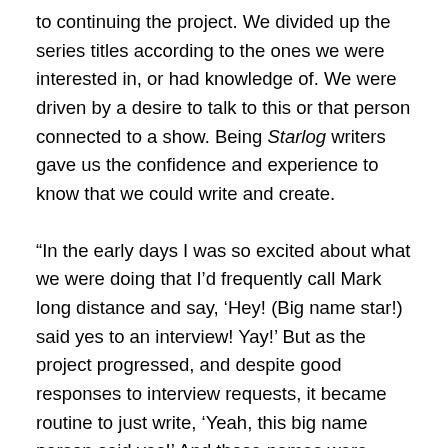to continuing the project. We divided up the series titles according to the ones we were interested in, or had knowledge of. We were driven by a desire to talk to this or that person connected to a show. Being Starlog writers gave us the confidence and experience to know that we could write and create.
“In the early days I was so excited about what we were doing that I’d frequently call Mark long distance and say, ‘Hey! (Big name star!) said yes to an interview! Yay!’ But as the project progressed, and despite good responses to interview requests, it became routine to just write, ‘Yeah, this big name person said yes!’ And those names were people we KNEW had not been interviewed about their old, dormant series because no one else cared. We cared and wanted to hear what they had to say. And many shows